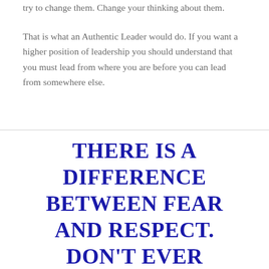try to change them. Change your thinking about them.

That is what an Authentic Leader would do. If you want a higher position of leadership you should understand that you must lead from where you are before you can lead from somewhere else.
THERE IS A DIFFERENCE BETWEEN FEAR AND RESPECT. DON'T EVER MISTAKE THE